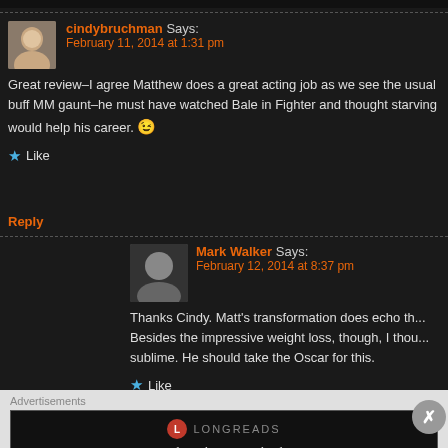cindybruchman Says: February 11, 2014 at 1:31 pm
Great review–I agree Matthew does a great acting job as we see the usual buff MM gaunt–he must have watched Bale in Fighter and thought starving would help his career. 😉
Like
Reply
Mark Walker Says: February 12, 2014 at 8:37 pm
Thanks Cindy. Matt's transformation does echo th... Besides the impressive weight loss, though, I thou... sublime. He should take the Oscar for this.
Like
Reply
cindybruchman Says: February 12, 2014 at 10:33 p...
Advertisements
[Figure (logo): Longreads logo with text: Read anything great lately?]